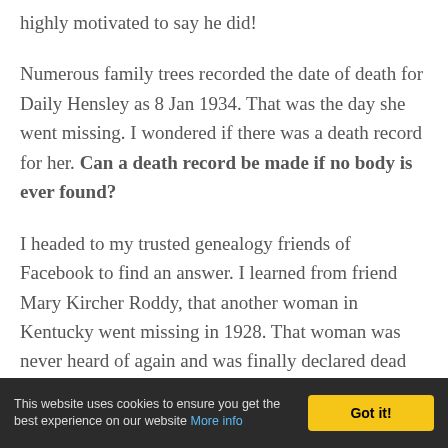highly motivated to say he did!

Numerous family trees recorded the date of death for Daily Hensley as 8 Jan 1934. That was the day she went missing. I wondered if there was a death record for her. Can a death record be made if no body is ever found?

I headed to my trusted genealogy friends of Facebook to find an answer. I learned from friend Mary Kircher Roddy, that another woman in Kentucky went missing in 1928. That woman was never heard of again and was finally declared dead by the courts...
This website uses cookies to ensure you get the best experience on our website More info  [Got it!]